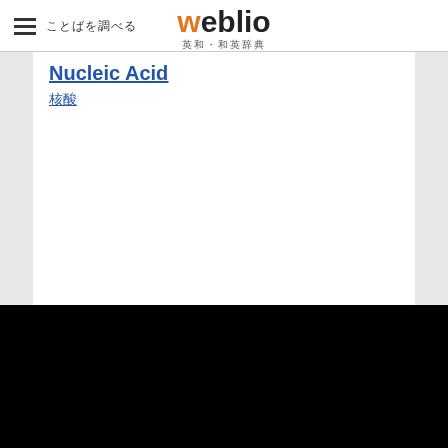weblio 英和・和英辞典
Nucleic Acid
核酸